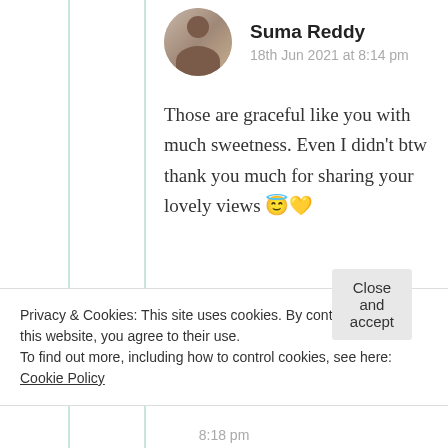Suma Reddy
18th Jun 2021 at 8:14 pm
Those are graceful like you with much sweetness. Even I didn’t btw thank you much for sharing your lovely views 😇💛
★ Liked by 1 person
Log in to Reply
Privacy & Cookies: This site uses cookies. By continuing to use this website, you agree to their use.
To find out more, including how to control cookies, see here: Cookie Policy
Close and accept
8:18 pm